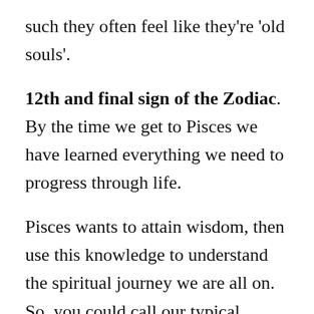such they often feel like they're 'old souls'.
12th and final sign of the Zodiac. By the time we get to Pisces we have learned everything we need to progress through life.
Pisces wants to attain wisdom, then use this knowledge to understand the spiritual journey we are all on. So, you could call our typical Pisces an enlightened soul.
So that’s the Zodiac sign, now we know him more, let's explore what happens when a